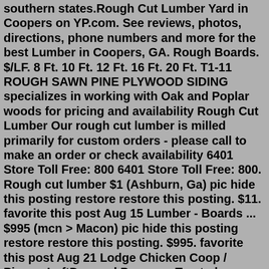southern states.Rough Cut Lumber Yard in Coopers on YP.com. See reviews, photos, directions, phone numbers and more for the best Lumber in Coopers, GA. Rough Boards. $/LF. 8 Ft. 10 Ft. 12 Ft. 16 Ft. 20 Ft. T1-11 ROUGH SAWN PINE PLYWOOD SIDING specializes in working with Oak and Poplar woods for pricing and availability Rough Cut Lumber Our rough cut lumber is milled primarily for custom orders - please call to make an order or check availability 6401 Store Toll Free: 800 6401 Store Toll Free: 800. Rough cut lumber $1 (Ashburn, Ga) pic hide this posting restore restore this posting. $11. favorite this post Aug 15 Lumber - Boards ... $995 (mcn > Macon) pic hide this posting restore restore this posting. $995. favorite this post Aug 21 Lodge Chicken Coop / Pigeon LoftDressed Pressure Treated Lumber; Rough Pressure Treated Lumber; Reclaimed Barn and Fence Wood; Siding. ... 8318 GA Hwy 2, Dalton, GA 30721. 706-259-3241. 706-259-4337 ... albany, GA (aby) asheville, NC (ash) athens, GA (ahn) atlanta, GA (atl) auburn, AL (aub) ... macon